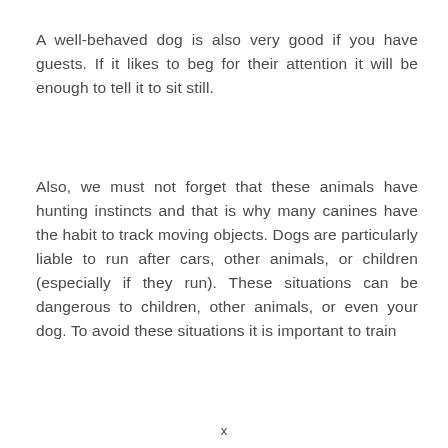A well-behaved dog is also very good if you have guests. If it likes to beg for their attention it will be enough to tell it to sit still.
Also, we must not forget that these animals have hunting instincts and that is why many canines have the habit to track moving objects. Dogs are particularly liable to run after cars, other animals, or children (especially if they run). These situations can be dangerous to children, other animals, or even your dog. To avoid these situations it is important to train
x